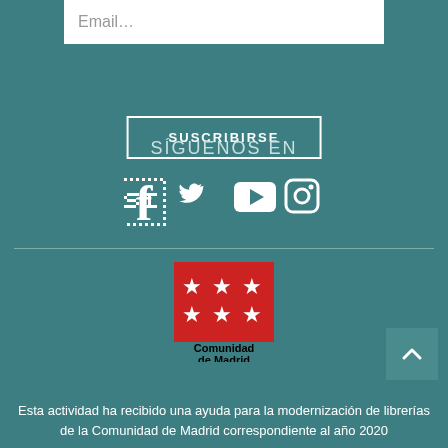Email…
SUSCRIBIRSE
SÍGUENOS EN
[Figure (illustration): Social media icons: Facebook, Twitter, YouTube, Instagram in white on teal background]
[Figure (logo): Comunidad de Madrid logo — red square with four white stars arranged in a cross pattern, black text reading 'Comunidad de Madrid' below]
Esta actividad ha recibido una ayuda para la modernización de librerías de la Comunidad de Madrid correspondiente al año 2020